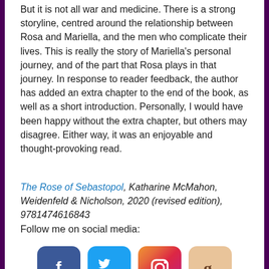But it is not all war and medicine. There is a strong storyline, centred around the relationship between Rosa and Mariella, and the men who complicate their lives. This is really the story of Mariella's personal journey, and of the part that Rosa plays in that journey. In response to reader feedback, the author has added an extra chapter to the end of the book, as well as a short introduction. Personally, I would have been happy without the extra chapter, but others may disagree. Either way, it was an enjoyable and thought-provoking read.
The Rose of Sebastopol, Katharine McMahon, Weidenfeld & Nicholson, 2020 (revised edition), 9781474616843
Follow me on social media:
[Figure (infographic): Four social media icons: Facebook (blue with f), Twitter (blue with bird), Instagram (gradient with camera), Goodreads (tan with g)]